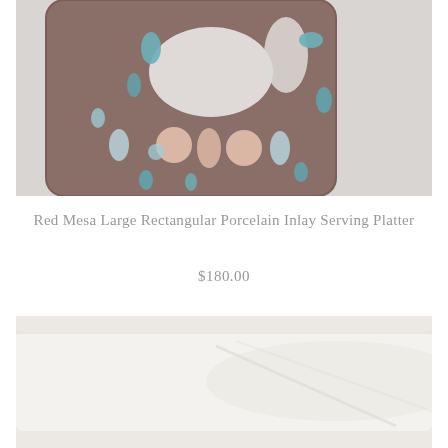[Figure (photo): Close-up photo of a ceramic serving platter with a dark brownish-grey base glaze decorated with multicolored inlay spots and ovals in white, light blue, teal, and peach/salmon colors]
Red Mesa Large Rectangular Porcelain Inlay Serving Platter
$180.00
[Figure (photo): Bottom portion of a white/cream colored rectangular porcelain serving platter on a light background, showing subtle shadow and texture]